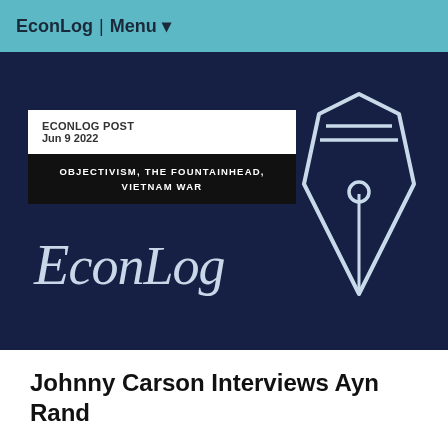EconLog | Menu ▾
[Figure (logo): EconLog hero banner with dark navy background, EconLog text logo in italic serif font, a pen nib icon on the right, and a post card showing 'ECONLOG POST Jun 9 2022' and tags 'OBJECTIVISM, THE FOUNTAINHEAD, VIETNAM WAR']
Johnny Carson Interviews Ayn Rand